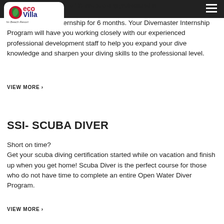Eco Villa Palm Beach Resort
a SSI scuba diving professional is an SSI Divemaster Internship for 6 months. Your Divemaster Internship Program will have you working closely with our experienced professional development staff to help you expand your dive knowledge and sharpen your diving skills to the professional level.
VIEW MORE
SSI- SCUBA DIVER
Short on time?
Get your scuba diving certification started while on vacation and finish up when you get home! Scuba Diver is the perfect course for those who do not have time to complete an entire Open Water Diver Program.
VIEW MORE